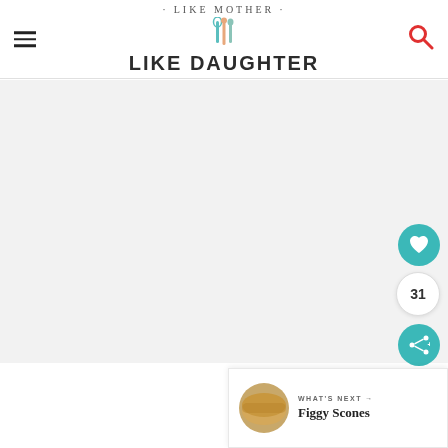· LIKE MOTHER · LIKE DAUGHTER
[Figure (photo): Large light gray placeholder image area for recipe photo]
31
WHAT'S NEXT → Figgy Scones